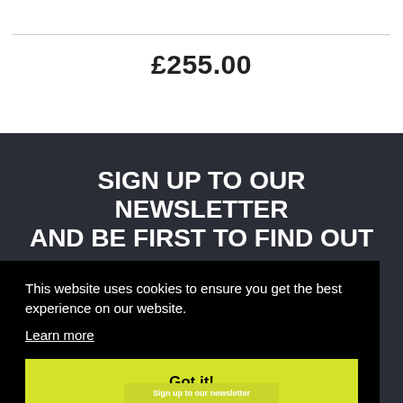£255.00
SIGN UP TO OUR NEWSLETTER AND BE FIRST TO FIND OUT
This website uses cookies to ensure you get the best experience on our website.
Learn more
Got it!
Sign up to our newsletter